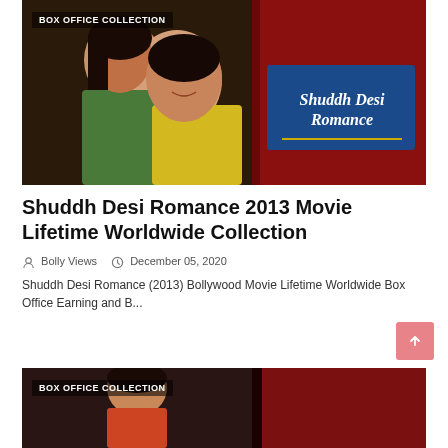[Figure (photo): Movie promotional image for Shuddh Desi Romance 2013 showing a couple embracing on the left, and the movie title 'Shuddh Desi Romance' on the right with dark red background. A badge overlay reads 'BOX OFFICE COLLECTION'.]
Shuddh Desi Romance 2013 Movie Lifetime Worldwide Collection
Bolly Views   December 05, 2020
Shuddh Desi Romance (2013) Bollywood Movie Lifetime Worldwide Box Office Earning and B...
[Figure (photo): Partially visible movie promotional image at the bottom of the page with BOX OFFICE COLLECTION badge.]